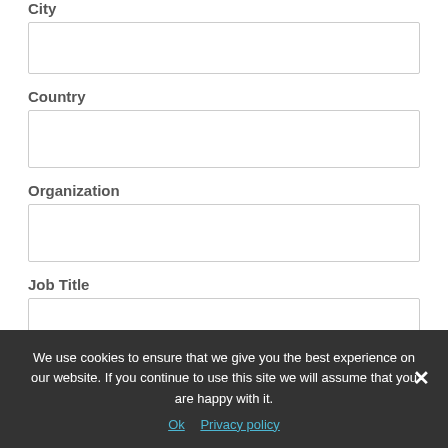City
Country
Organization
Job Title
Subscribe
We use cookies to ensure that we give you the best experience on our website. If you continue to use this site we will assume that you are happy with it.
Ok   Privacy policy